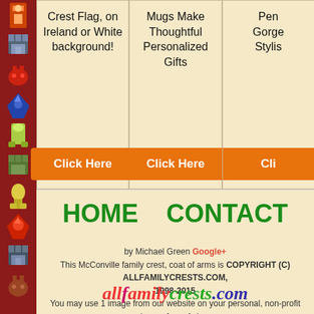[Figure (illustration): Left sidebar with dark red background containing pixel-art heraldic icons (lobster, castle, crab, wyvern, boot, man, boot, wyvern, man)]
Crest Flag, on Ireland or White background!
Click Here
Mugs Make Thoughtful Personalized Gifts
Click Here
Pen Gorge Stylis
Cli
HOME    CONTACT
by Michael Green Google+
This McConville family crest, coat of arms is COPYRIGHT (C) ALLFAMILYCRESTS.COM, 1998-2015
You may use 1 image from our website on your personal, non-profit webpage free of charge.
All other uses including commercial use are prohibited without first seeking permission.
Click Here for Contact Information
allfamilycrests.com